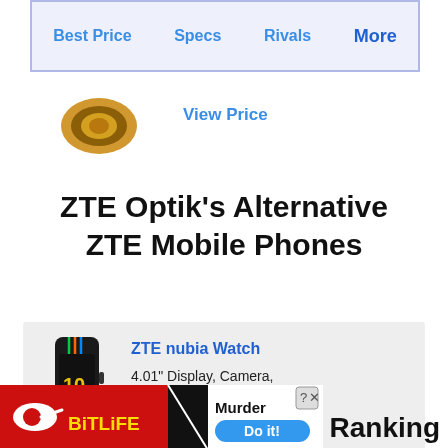Best Price | Specs | Rivals | More
View Price
ZTE Optik's Alternative ZTE Mobile Phones
ZTE nubia Watch
4.01" Display, Camera, 1 GB RAM & 420 mAh Battery.
View Price
[Figure (screenshot): BitLife advertisement banner showing 'Murder Do it!' with logo]
Ranking